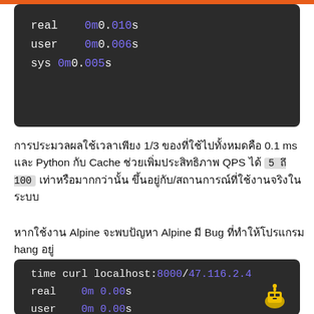[Figure (screenshot): Terminal code block showing: real 0m0.010s / user 0m0.006s / sys 0m0.005s]
การประมวลผลใช้เวลาเพียง 1/3 ของที่ใช้ไปทั้งหมดคือ 0.1 ms และ Python กับ Cache ช่วยเพิ่มประสิทธิภาพ QPS ได้ 5 ถึง 100 เท่าหรือมากกว่านั้น ขึ้นอยู่กับ/สถานการณ์ที่ใช้งานจริงในระบบ
หากใช้งาน Alpine จะพบปัญหา Alpine มี Bug ที่ทำให้โปรแกรม hang อยู่
[Figure (screenshot): Terminal code block showing: time curl localhost:8000/47.116.2.4 / real 0m 0.00s / user 0m 0.00s]